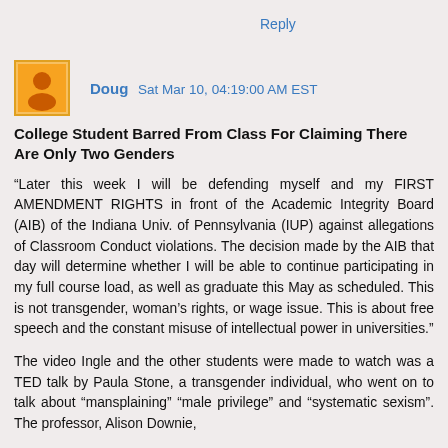Reply
Doug  Sat Mar 10, 04:19:00 AM EST
College Student Barred From Class For Claiming There Are Only Two Genders
“Later this week I will be defending myself and my FIRST AMENDMENT RIGHTS in front of the Academic Integrity Board (AIB) of the Indiana Univ. of Pennsylvania (IUP) against allegations of Classroom Conduct violations. The decision made by the AIB that day will determine whether I will be able to continue participating in my full course load, as well as graduate this May as scheduled. This is not transgender, woman’s rights, or wage issue. This is about free speech and the constant misuse of intellectual power in universities.”
The video Ingle and the other students were made to watch was a TED talk by Paula Stone, a transgender individual, who went on to talk about “mansplaining” “male privilege” and “systematic sexism”. The professor, Alison Downie,